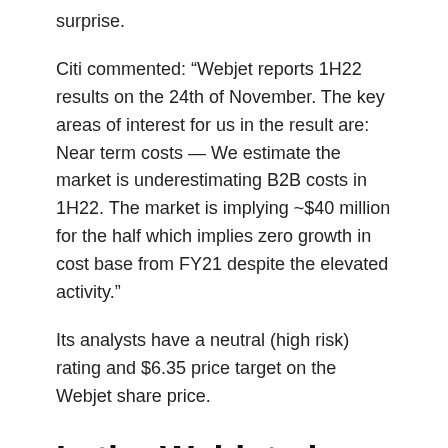surprise.
Citi commented: “Webjet reports 1H22 results on the 24th of November. The key areas of interest for us in the result are: Near term costs — We estimate the market is underestimating B2B costs in 1H22. The market is implying ~$40 million for the half which implies zero growth in cost base from FY21 despite the elevated activity.”
Its analysts have a neutral (high risk) rating and $6.35 price target on the Webjet share price.
Is the Webjet share price a buy?
Opinions are mixed. While Goldman and